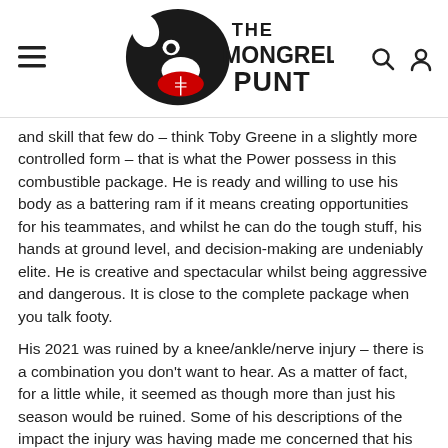THE MONGREL PUNT (logo)
and skill that few do – think Toby Greene in a slightly more controlled form – that is what the Power possess in this combustible package. He is ready and willing to use his body as a battering ram if it means creating opportunities for his teammates, and whilst he can do the tough stuff, his hands at ground level, and decision-making are undeniably elite. He is creative and spectacular whilst being aggressive and dangerous. It is close to the complete package when you talk footy.
His 2021 was ruined by a knee/ankle/nerve injury – there is a combination you don't want to hear. As a matter of fact, for a little while, it seemed as though more than just his season would be ruined. Some of his descriptions of the impact the injury was having made me concerned that his career may have been in danger.